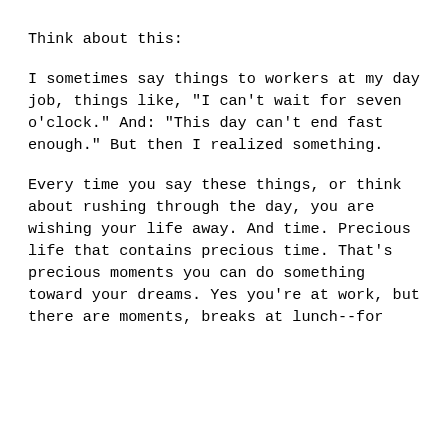Think about this:
I sometimes say things to workers at my day job, things like, "I can't wait for seven o'clock." And: "This day can't end fast enough." But then I realized something.
Every time you say these things, or think about rushing through the day, you are wishing your life away. And time. Precious life that contains precious time. That's precious moments you can do something toward your dreams. Yes you're at work, but there are moments, breaks at lunch--for